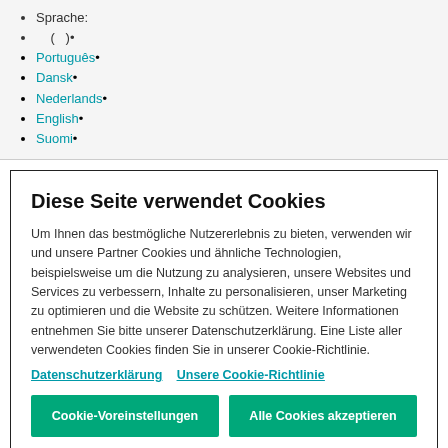Sprache:
( )•
Português•
Dansk•
Nederlands•
English•
Suomi•
Diese Seite verwendet Cookies
Um Ihnen das bestmögliche Nutzererlebnis zu bieten, verwenden wir und unsere Partner Cookies und ähnliche Technologien, beispielsweise um die Nutzung zu analysieren, unsere Websites und Services zu verbessern, Inhalte zu personalisieren, unser Marketing zu optimieren und die Website zu schützen. Weitere Informationen entnehmen Sie bitte unserer Datenschutzerklärung. Eine Liste aller verwendeten Cookies finden Sie in unserer Cookie-Richtlinie.
Datenschutzerklärung   Unsere Cookie-Richtlinie
Cookie-Voreinstellungen   Alle Cookies akzeptieren